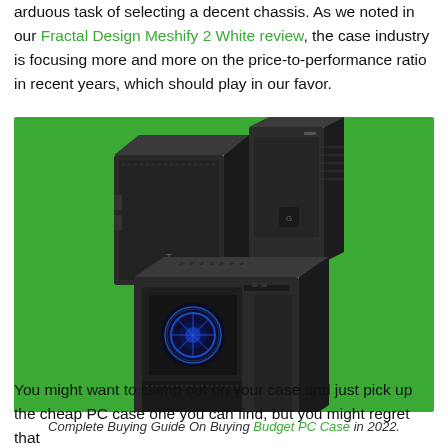arduous task of selecting a decent chassis. As we noted in our Fractal Design Meshify 2 White review, the case industry is focusing more and more on the price-to-performance ratio in recent years, which should play in our favor.
[Figure (photo): Three dark PC cases arranged on a green background. Two smaller cases at the top (one cube-style, one tower) and one larger mid-tower case with a blue fan visible through a side window at the bottom.]
Complete Buying Guide On Buying Budget PC Case in 2022.
You might want to skimp out on your case and just pick up the cheap PC case one you can find, but you might regret that